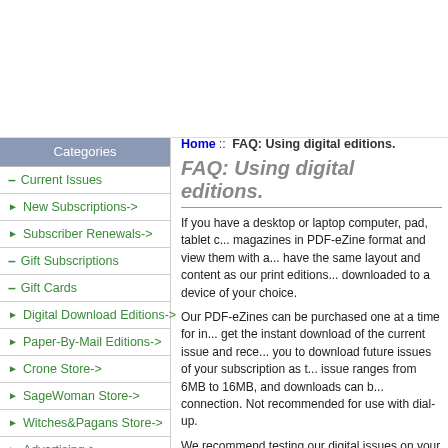Categories
— Current Issues
► New Subscriptions->
► Subscriber Renewals->
— Gift Subscriptions
— Gift Cards
► Digital Download Editions->
► Paper-By-Mail Editions->
► Crone Store->
► SageWoman Store->
► Witches&Pagans Store->
► Advertising->
► Wholesale Magazines...
Home :: FAQ: Using digital editions.
FAQ: Using digital editions.
If you have a desktop or laptop computer, pad, tablet computer, or phone, you can purchase magazines in PDF-eZine format and view them with any PDF reader. Our digital editions have the same layout and content as our print editions, and can be read online or downloaded to a device of your choice.
Our PDF-eZines can be purchased one at a time for individual issues. Subscribers also get the instant download of the current issue and receive email with a download link that allows you to download future issues of your subscription as they become available. Each issue ranges from 6MB to 16MB, and downloads can be completed quickly with a broadband connection. Not recommended for use with dial-up.
We recommend testing our digital issues on your device by clicking "Sample this issue in PDF format" at the bottom of each issue page. This sample file doesn't include as many table-of-contents pages but uses our standard digital issue format. Digital issues are licensed to be downloaded and stored on your device or private computer.
Devices known to work with our PDF-eZine format include:
Personal Computers including Laptops, Netbooks, and Desktops
- Any Windows, Mac or Linux personal computer with a free Adobe Reader or other PDF viewer insta...
Android Pads or the Kindle Fire
- The free Adobe reader app from the "Play S..." readers. Our favorite reader apps are the free...